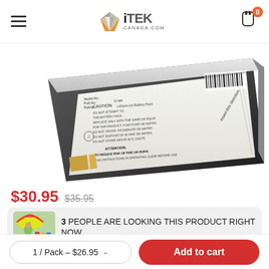iTEK CANADA.COM
[Figure (photo): Close-up photo of a Lithium-ion battery pack with caution warning labels visible on a white background]
$30.95  $35.95
3 PEOPLE ARE LOOKING THIS PRODUCT RIGHT NOW
1 / Pack – $26.95  Add to cart